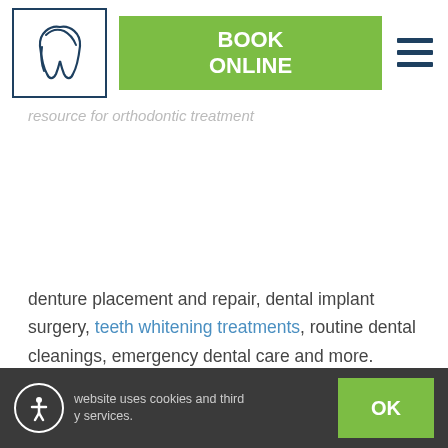[Figure (logo): Dental clinic logo: tooth icon in a dark teal square border]
BOOK ONLINE
resource for orthodontic treatment
denture placement and repair, dental implant surgery, teeth whitening treatments, routine dental cleanings, emergency dental care and more.
The Dr. Marino & Associates and Dr. Nassif & Associates team has set itself apart as a vital resource to the Northeast Ohio community. In fact, patients from
website uses cookies and third y services.